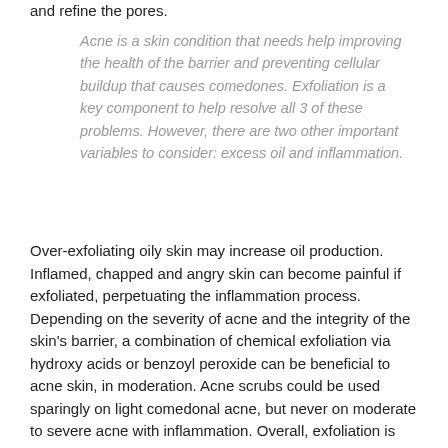and refine the pores.
Acne is a skin condition that needs help improving the health of the barrier and preventing cellular buildup that causes comedones. Exfoliation is a key component to help resolve all 3 of these problems. However, there are two other important variables to consider: excess oil and inflammation.
Over-exfoliating oily skin may increase oil production. Inflamed, chapped and angry skin can become painful if exfoliated, perpetuating the inflammation process. Depending on the severity of acne and the integrity of the skin's barrier, a combination of chemical exfoliation via hydroxy acids or benzoyl peroxide can be beneficial to acne skin, in moderation. Acne scrubs could be used sparingly on light comedonal acne, but never on moderate to severe acne with inflammation. Overall, exfoliation is important, but should be used sparingly one to two times per week or as a spot treatment only depending on the type of acne present, barrier integrity and skin tolerance.